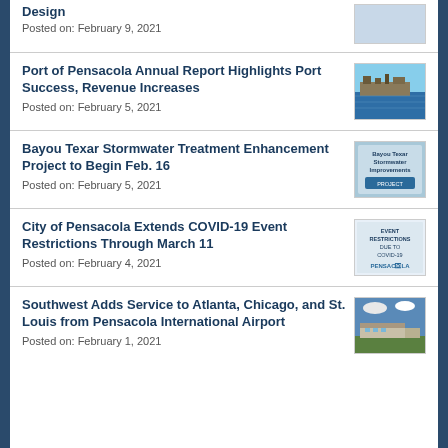Design
Posted on: February 9, 2021
Port of Pensacola Annual Report Highlights Port Success, Revenue Increases
Posted on: February 5, 2021
[Figure (photo): Aerial view of Port of Pensacola with water and dock facilities]
Bayou Texar Stormwater Treatment Enhancement Project to Begin Feb. 16
Posted on: February 5, 2021
[Figure (photo): Bayou Texar Stormwater Improvements sign/logo image]
City of Pensacola Extends COVID-19 Event Restrictions Through March 11
Posted on: February 4, 2021
[Figure (photo): Event Restrictions Due to COVID-19 Pensacola sign]
Southwest Adds Service to Atlanta, Chicago, and St. Louis from Pensacola International Airport
Posted on: February 1, 2021
[Figure (photo): Exterior photo of Pensacola International Airport building]